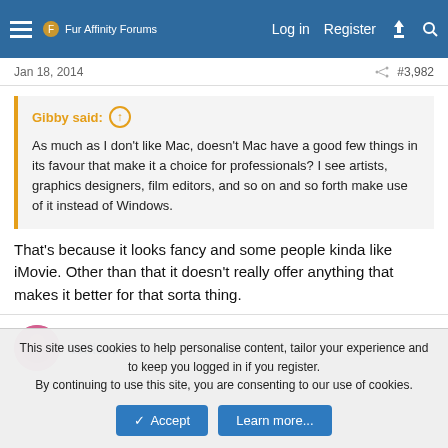Fur Affinity Forums — Log in  Register
Jan 18, 2014  #3,982
Gibby said:  ↑  As much as I don't like Mac, doesn't Mac have a good few things in its favour that make it a choice for professionals? I see artists, graphics designers, film editors, and so on and so forth make use of it instead of Windows.
That's because it looks fancy and some people kinda like iMovie. Other than that it doesn't really offer anything that makes it better for that sorta thing.
Willow
This site uses cookies to help personalise content, tailor your experience and to keep you logged in if you register.
By continuing to use this site, you are consenting to our use of cookies.